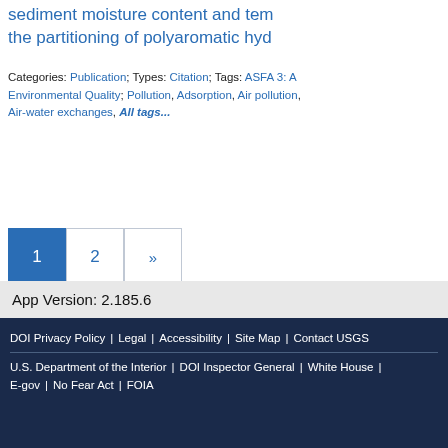sediment moisture content and tem the partitioning of polyaromatic hyd
Categories: Publication; Types: Citation; Tags: ASFA 3: A Environmental Quality; Pollution, Adsorption, Air pollution, Air-water exchanges, All tags...
Pagination: 1 2 »
App Version: 2.185.6
DOI Privacy Policy | Legal | Accessibility | Site Map | Contact USGS | U.S. Department of the Interior | DOI Inspector General | White House | E-gov | No Fear Act | FOIA